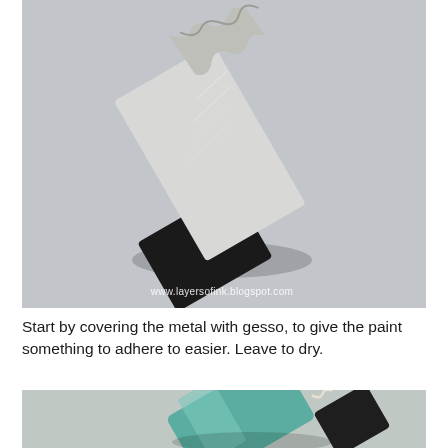[Figure (photo): A metal piece (looks like a corrugated metal strip or clasp) coated with white gesso, showing silvery-white primer over a dark metal object, photographed on a light gray background. Watermark: www.layersofink.blogspot.com]
Start by covering the metal with gesso, to give the paint something to adhere to easier. Leave to dry.
[Figure (photo): A metal strip or clasp painted with teal/turquoise paint, partially visible at bottom of page, on a light gray background.]